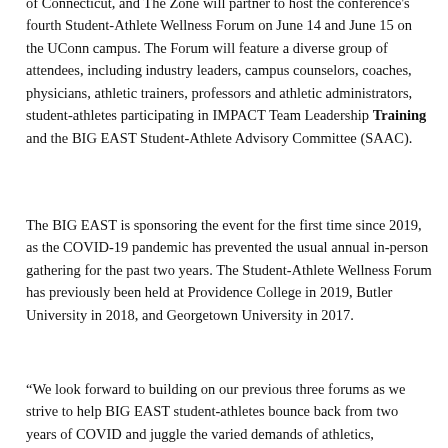of Connecticut, and The Zone will partner to host the conference's fourth Student-Athlete Wellness Forum on June 14 and June 15 on the UConn campus. The Forum will feature a diverse group of attendees, including industry leaders, campus counselors, coaches, physicians, athletic trainers, professors and athletic administrators, student-athletes participating in IMPACT Team Leadership Training and the BIG EAST Student-Athlete Advisory Committee (SAAC).
The BIG EAST is sponsoring the event for the first time since 2019, as the COVID-19 pandemic has prevented the usual annual in-person gathering for the past two years. The Student-Athlete Wellness Forum has previously been held at Providence College in 2019, Butler University in 2018, and Georgetown University in 2017.
“We look forward to building on our previous three forums as we strive to help BIG EAST student-athletes bounce back from two years of COVID and juggle the varied demands of athletics,